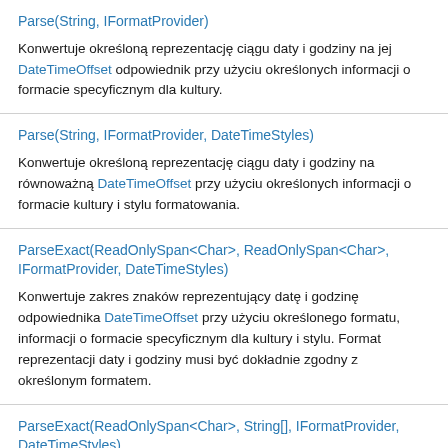Parse(String, IFormatProvider)
Konwertuje określoną reprezentację ciągu daty i godziny na jej DateTimeOffset odpowiednik przy użyciu określonych informacji o formacie specyficznym dla kultury.
Parse(String, IFormatProvider, DateTimeStyles)
Konwertuje określoną reprezentację ciągu daty i godziny na równoważną DateTimeOffset przy użyciu określonych informacji o formacie kultury i stylu formatowania.
ParseExact(ReadOnlySpan<Char>, ReadOnlySpan<Char>, IFormatProvider, DateTimeStyles)
Konwertuje zakres znaków reprezentujący datę i godzinę odpowiednika DateTimeOffset przy użyciu określonego formatu, informacji o formacie specyficznym dla kultury i stylu. Format reprezentacji daty i godziny musi być dokładnie zgodny z określonym formatem.
ParseExact(ReadOnlySpan<Char>, String[], IFormatProvider, DateTimeStyles)